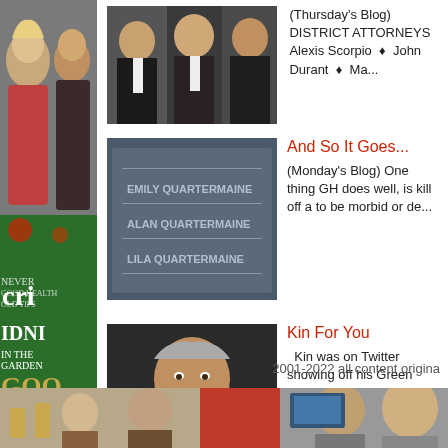[Figure (photo): Left sidebar: top half shows a woman and man at an event, bottom half shows a magazine cover with green background, gold text reading 'IDNI', 'GOO', '&AV', 'men want know!!']
[Figure (photo): Thumbnail of men in formal wear, partially cut off at top]
(Thursday's Blog) DISTRICT ATTORNEYS Alexis Scorpio ♦ John Durant ♦ Ma...
[Figure (photo): Thumbnail of a gravestone/memorial wall showing Emily Quartermaine, Alan Quartermaine, Lila Quartermaine]
And So It Goes...
(Monday's Blog) One thing GH does well, is kill off a to be morbid or de...
[Figure (photo): Thumbnail of a man (Kin) holding up a Green Lantern item/badge]
Kin For You
Kin was on Twitter showing off his Green Lantern So, please let...
2001-2022 all content origina
[Figure (photo): Bottom strip: collage of photos including people at events and a red rectangle]